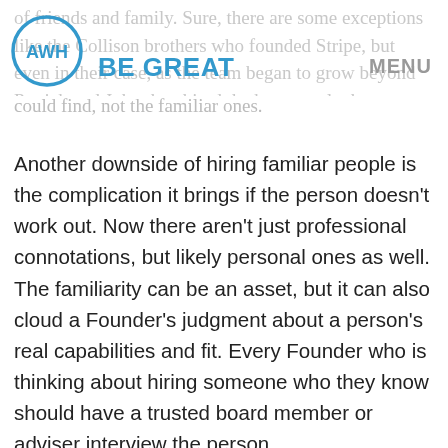AWH  BE GREAT  MENU
of friends and family. Sure, there are some exceptions like the Collison brothers who founded Stripe, but even in their case, as the team began to grow beyond Patrick and John they hired the best people they could find, not the familiar ones.
Another downside of hiring familiar people is the complication it brings if the person doesn't work out. Now there aren't just professional connotations, but likely personal ones as well. The familiarity can be an asset, but it can also cloud a Founder's judgment about a person's real capabilities and fit. Every Founder who is thinking about hiring someone who they know should have a trusted board member or adviser interview the person.